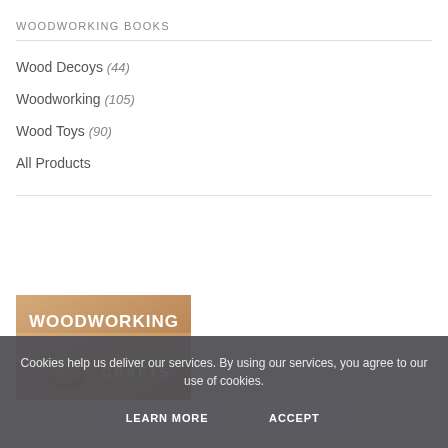WOODWORKING BOOKS
Wood Decoys (44)
Woodworking (105)
Wood Toys (90)
All Products
[Figure (photo): Book cover for Woodworking Crafts magazine/book with tan/brown background, white bold text reading WOODWORKING and CRAFTS, with a circular wood piece graphic at the bottom]
Cookies help us deliver our services. By using our services, you agree to our use of cookies.
LEARN MORE   ACCEPT